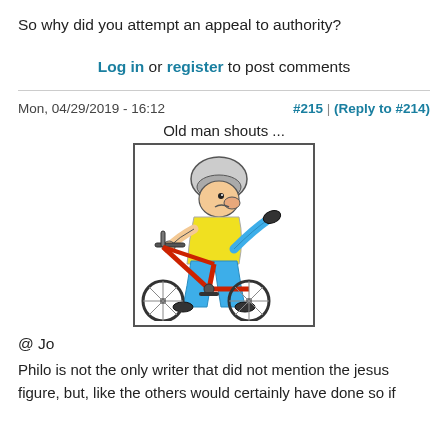So why did you attempt an appeal to authority?
Log in or register to post comments
Mon, 04/29/2019 - 16:12    #215 | (Reply to #214)
Old man shouts ...
[Figure (illustration): Cartoon of an old man in a helmet riding a small red bicycle aggressively, wearing a yellow shirt and blue pants.]
@ Jo
Philo is not the only writer that did not mention the jesus figure, but, like the others would certainly have done so if